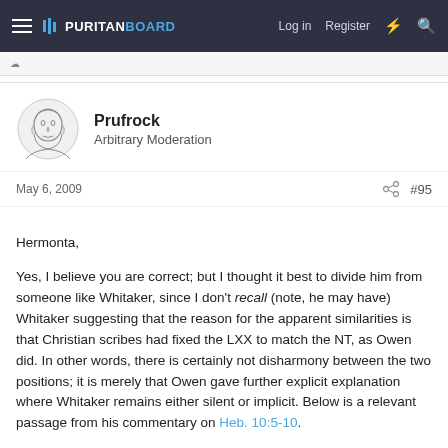PURITAN BOARD — Log in  Register
Prufrock
Arbitrary Moderation
May 6, 2009  #95
Hermonta,

Yes, I believe you are correct; but I thought it best to divide him from someone like Whitaker, since I don't recall (note, he may have) Whitaker suggesting that the reason for the apparent similarities is that Christian scribes had fixed the LXX to match the NT, as Owen did. In other words, there is certainly not disharmony between the two positions; it is merely that Owen gave further explicit explanation where Whitaker remains either silent or implicit. Below is a relevant passage from his commentary on Heb. 10:5-10.